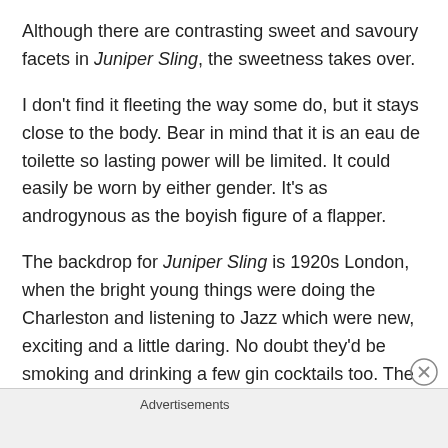Although there are contrasting sweet and savoury facets in Juniper Sling, the sweetness takes over.
I don't find it fleeting the way some do, but it stays close to the body. Bear in mind that it is an eau de toilette so lasting power will be limited. It could easily be worn by either gender. It's as androgynous as the boyish figure of a flapper.
The backdrop for Juniper Sling is 1920s London, when the bright young things were doing the Charleston and listening to Jazz which were new, exciting and a little daring. No doubt they'd be smoking and drinking a few gin cocktails too. The mood was carefree and hedonistic, without a thought for tomorrow.
Advertisements